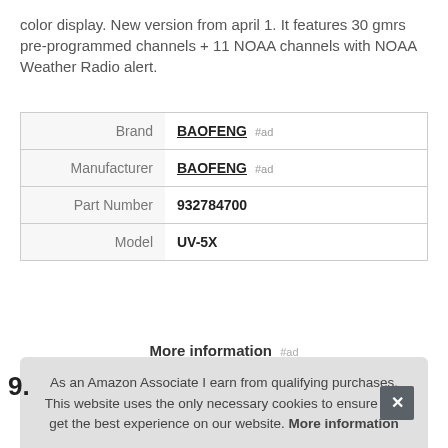color display. New version from april 1. It features 30 gmrs pre-programmed channels + 11 NOAA channels with NOAA Weather Radio alert.
|  |  |
| --- | --- |
| Brand | BAOFENG #ad |
| Manufacturer | BAOFENG #ad |
| Part Number | 932784700 |
| Model | UV-5X |
More information #ad
As an Amazon Associate I earn from qualifying purchases. This website uses the only necessary cookies to ensure you get the best experience on our website. More information